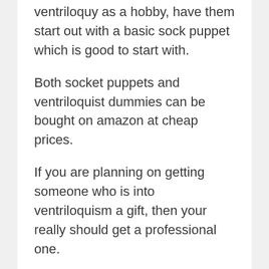ventriloquy as a hobby, have them start out with a basic sock puppet which is good to start with.
Both socket puppets and ventriloquist dummies can be bought on amazon at cheap prices.
If you are planning on getting someone who is into ventriloquism a gift, then your really should get a professional one.
Professional ventriloquist dummies for sale like Achmed can be bought online via Amazon and similar sites.